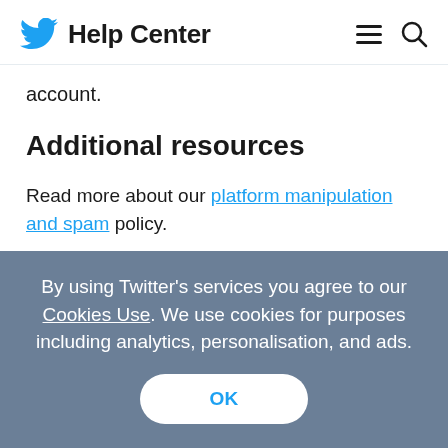Help Center
account.
Additional resources
Read more about our platform manipulation and spam policy.
By using Twitter's services you agree to our Cookies Use. We use cookies for purposes including analytics, personalisation, and ads.